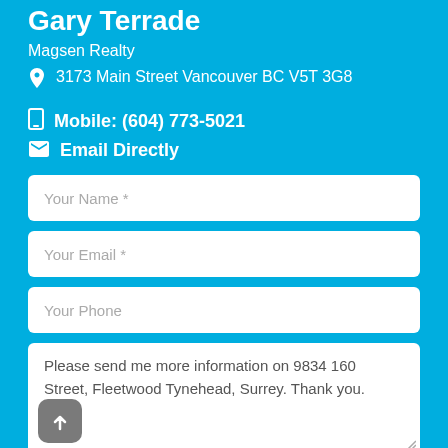Gary Terrade
Magsen Realty
3173 Main Street Vancouver BC V5T 3G8
Mobile: (604) 773-5021
Email Directly
Your Name *
Your Email *
Your Phone
Please send me more information on 9834 160 Street, Fleetwood Tynehead, Surrey. Thank you.